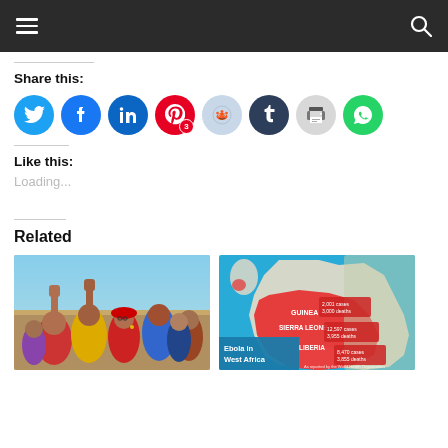Navigation bar with menu and search icons
Share this:
[Figure (infographic): Row of social share icon buttons: Twitter (blue), Facebook (blue), LinkedIn (blue), Pinterest (red, badge 3), Reddit (light blue), Tumblr (dark blue), Print (gray), WhatsApp (green)]
Like this:
Loading...
Related
[Figure (photo): Photo of crowd of people with fists raised, appears to be a protest or rally with people in colorful clothing]
[Figure (infographic): Map showing Ebola in West Africa with red highlighted regions for Guinea, Sierra Leone, and Liberia, with case/death statistics, on blue background. Text reads: Ebola in West Africa. As reported by the World Health Organization as of February 15, 2015.]